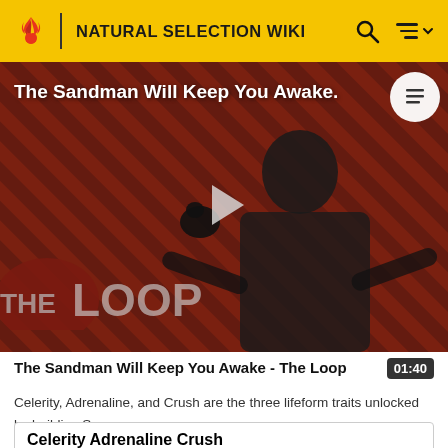NATURAL SELECTION WIKI
[Figure (screenshot): Video thumbnail showing a dark figure in a black cloak against a red and black diagonal striped background, with 'The Sandman Will Keep You Awake' text overlay, a play button, and 'THE LOOP' watermark in the lower left. A table-of-contents button appears in the upper right corner.]
The Sandman Will Keep You Awake - The Loop
Celerity, Adrenaline, and Crush are the three lifeform traits unlocked by building Spurs.
Celerity Adrenaline Crush